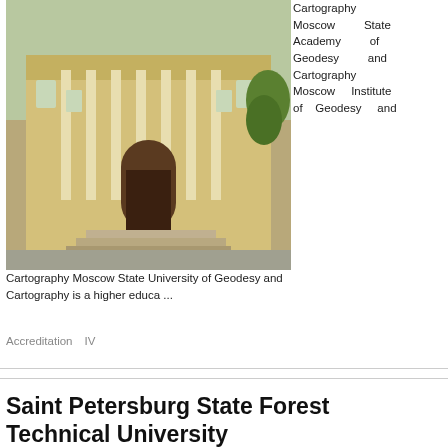[Figure (photo): Facade of a classical yellow building with white columns, arched entrance — Moscow State Academy of Geodesy and Cartography]
Cartography Moscow State Academy of Geodesy and Cartography Moscow Institute of Geodesy and Cartography Moscow State University of Geodesy and Cartography is a higher educa ...
Accreditation  IV
Saint Petersburg State Forest Technical University
[Figure (photo): Saint Petersburg State Forest Technical University building with sky and clouds]
Saint Petersburg, Russia Saint Petersburg State Technical University of ...